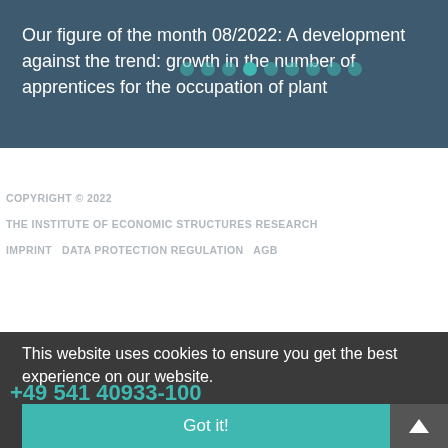Our figure of the month 08/2022: A development against the trend: growth in the number of apprentices for the occupation of plant
COPYRIGHT © 2022
THE INSTITUTE OF ECONOMIC STRUCTURES RESEARCH
IMPRINT  DATA PROTECTION REGULATION  AGB
This website uses cookies to ensure you get the best experience on our website.
+49 541 40933-100
Got it!